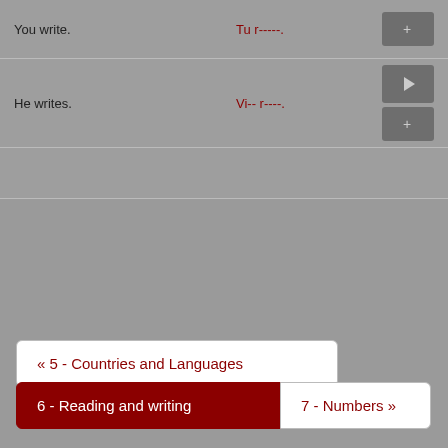|  |  |  |
| --- | --- | --- |
| You write. | Tu r-----. | + |
| He writes. | Vi-- r----. | ▶ + |
|  |  |  |
« 5 - Countries and Languages
6 - Reading and writing
7 - Numbers »